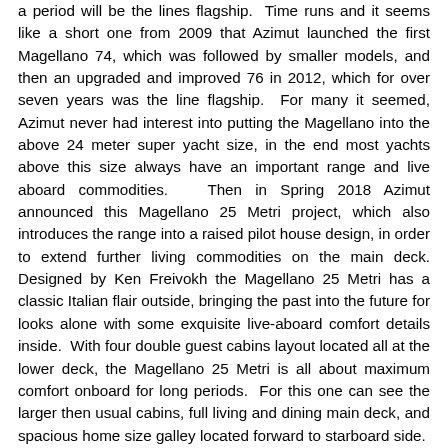a period will be the lines flagship.  Time runs and it seems like a short one from 2009 that Azimut launched the first Magellano 74, which was followed by smaller models, and then an upgraded and improved 76 in 2012, which for over seven years was the line flagship.  For many it seemed, Azimut never had interest into putting the Magellano into the above 24 meter super yacht size, in the end most yachts above this size always have an important range and live aboard commodities.  Then in Spring 2018 Azimut announced this Magellano 25 Metri project, which also introduces the range into a raised pilot house design, in order to extend further living commodities on the main deck. Designed by Ken Freivokh the Magellano 25 Metri has a classic Italian flair outside, bringing the past into the future for looks alone with some exquisite live-aboard comfort details inside.  With four double guest cabins layout located all at the lower deck, the Magellano 25 Metri is all about maximum comfort onboard for long periods.  For this one can see the larger then usual cabins, full living and dining main deck, and spacious home size galley located forward to starboard side.  The Magellano 25 Metri also brings the carbon tech technology into the explorer range with the